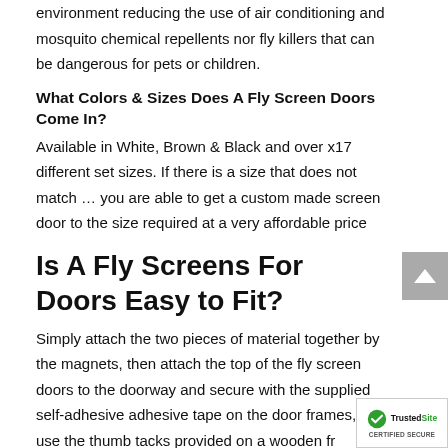environment reducing the use of air conditioning and mosquito chemical repellents nor fly killers that can be dangerous for pets or children.
What Colors & Sizes Does A Fly Screen Doors Come In?
Available in White, Brown & Black and over x17 different set sizes. If there is a size that does not match … you are able to get a custom made screen door to the size required at a very affordable price
Is A Fly Screens For Doors Easy to Fit?
Simply attach the two pieces of material together by the magnets, then attach the top of the fly screen doors to the doorway and secure with the supplied self-adhesive adhesive tape on the door frames, or use the thumb tacks provided on a wooden fr…